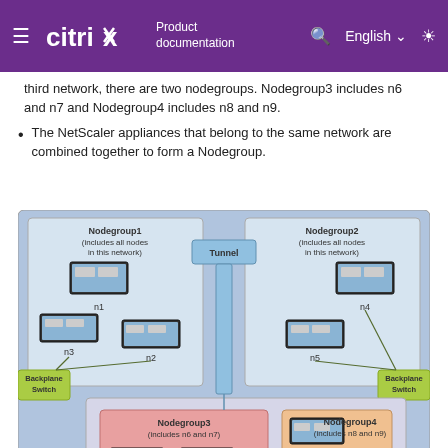Citrix Product documentation | English
third network, there are two nodegroups. Nodegroup3 includes n6 and n7 and Nodegroup4 includes n8 and n9.
The NetScaler appliances that belong to the same network are combined together to form a Nodegroup.
[Figure (network-graph): Diagram showing four nodegroups connected via a tunnel. Nodegroup1 (includes all nodes in this network) contains nodes n1, n2, n3 with a Backplane Switch. Nodegroup2 (includes all nodes in this network) contains nodes n4, n5 with a Backplane Switch. These two groups connect via a Tunnel. Nodegroup3 (includes n6 and n7) contains nodes n6 and n7 in a pink region. Nodegroup4 (includes n8 and n9) contains nodes n8 and n9 in a peach/orange region. Nodegroups 3 and 4 are in a lower section connected via the tunnel.]